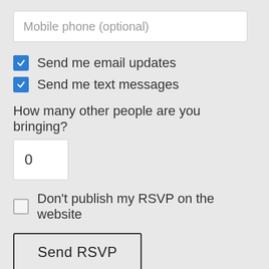Mobile phone (optional)
Send me email updates
Send me text messages
How many other people are you bringing?
0
Don't publish my RSVP on the website
Send RSVP